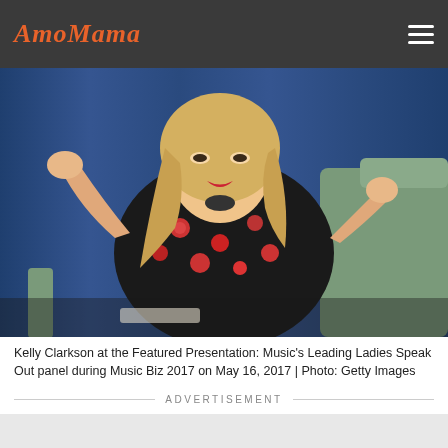AmoMama
[Figure (photo): Kelly Clarkson seated on a green chair, wearing a black floral dress with red flowers, gesturing with hands, speaking at a panel event. Blue curtain background.]
Kelly Clarkson at the Featured Presentation: Music's Leading Ladies Speak Out panel during Music Biz 2017 on May 16, 2017 | Photo: Getty Images
ADVERTISEMENT